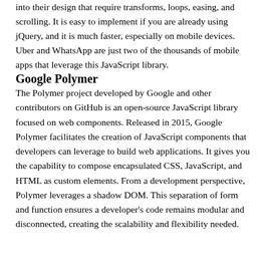into their design that require transforms, loops, easing, and scrolling. It is easy to implement if you are already using jQuery, and it is much faster, especially on mobile devices. Uber and WhatsApp are just two of the thousands of mobile apps that leverage this JavaScript library.
Google Polymer
The Polymer project developed by Google and other contributors on GitHub is an open-source JavaScript library focused on web components. Released in 2015, Google Polymer facilitates the creation of JavaScript components that developers can leverage to build web applications. It gives you the capability to compose encapsulated CSS, JavaScript, and HTML as custom elements. From a development perspective, Polymer leverages a shadow DOM. This separation of form and function ensures a developer's code remains modular and disconnected, creating the scalability and flexibility needed.